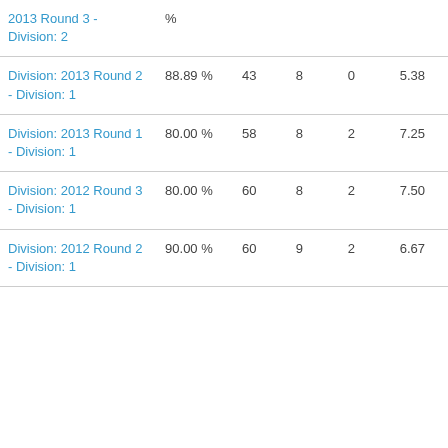| Division | % |  |  |  |  |
| --- | --- | --- | --- | --- | --- |
| Division: 2013 Round 3 - Division: 2 | % |  |  |  |  |
| Division: 2013 Round 2 - Division: 1 | 88.89 % | 43 | 8 | 0 | 5.38 |
| Division: 2013 Round 1 - Division: 1 | 80.00 % | 58 | 8 | 2 | 7.25 |
| Division: 2012 Round 3 - Division: 1 | 80.00 % | 60 | 8 | 2 | 7.50 |
| Division: 2012 Round 2 - Division: 1 | 90.00 % | 60 | 9 | 2 | 6.67 |